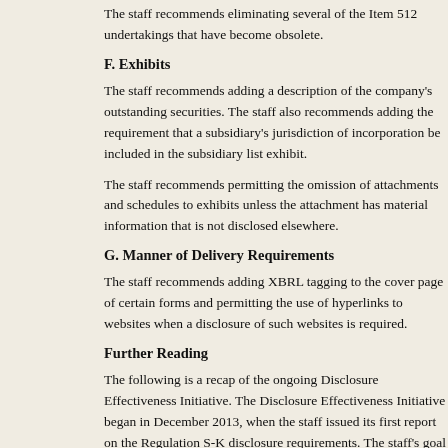The staff recommends eliminating several of the Item 512 undertakings that have become obsolete.
F. Exhibits
The staff recommends adding a description of the company's outstanding securities. The staff also recommends adding the requirement that a subsidiary's jurisdiction of incorporation be included in the subsidiary list exhibit.
The staff recommends permitting the omission of attachments and schedules to exhibits unless the attachment has material information that is not disclosed elsewhere.
G. Manner of Delivery Requirements
The staff recommends adding XBRL tagging to the cover page of certain forms and permitting the use of hyperlinks to websites when a disclosure of such websites is required.
Further Reading
The following is a recap of the ongoing Disclosure Effectiveness Initiative. The Disclosure Effectiveness Initiative began in December 2013, when the staff issued its first report on the Regulation S-K disclosure requirements. The goal of the initiative is to evaluate the rules related to disclosure, how information is presented, and the technology utilized in the process and to implement changes to improve the disclosure framework.
On August 31, 2016, the SEC issued proposed amendments to